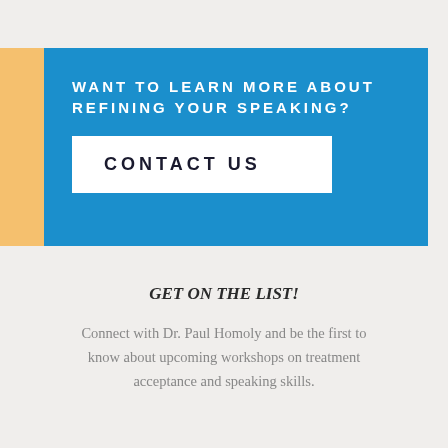WANT TO LEARN MORE ABOUT REFINING YOUR SPEAKING?
CONTACT US
GET ON THE LIST!
Connect with Dr. Paul Homoly and be the first to know about upcoming workshops on treatment acceptance and speaking skills.